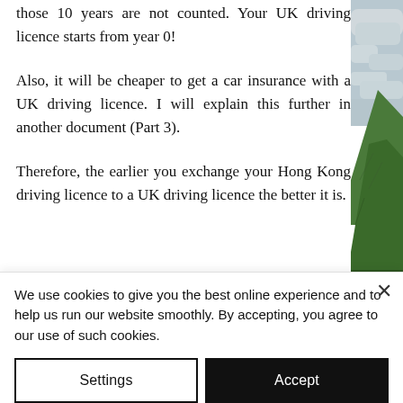those 10 years are not counted. Your UK driving licence starts from year 0!
Also, it will be cheaper to get a car insurance with a UK driving licence. I will explain this further in another document (Part 3).
Therefore, the earlier you exchange your Hong Kong driving licence to a UK driving licence the better it is.
[Figure (photo): Photo of a green hillside/mountain landscape with cloudy sky, cropped to a narrow vertical strip on the right side of the page]
We use cookies to give you the best online experience and to help us run our website smoothly. By accepting, you agree to our use of such cookies.